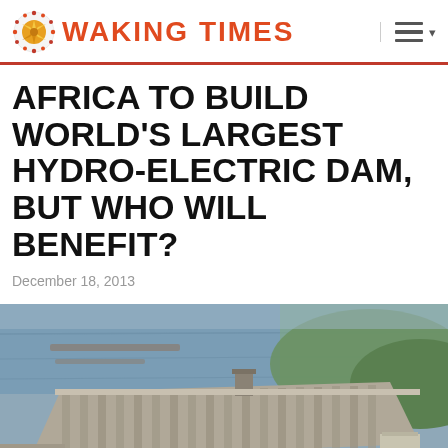WAKING TIMES
AFRICA TO BUILD WORLD'S LARGEST HYDRO-ELECTRIC DAM, BUT WHO WILL BENEFIT?
December 18, 2013
[Figure (photo): Aerial photograph of a large hydroelectric dam with water reservoir, spillways, concrete structure, bridge, and surrounding green landscape with river and flood plains.]